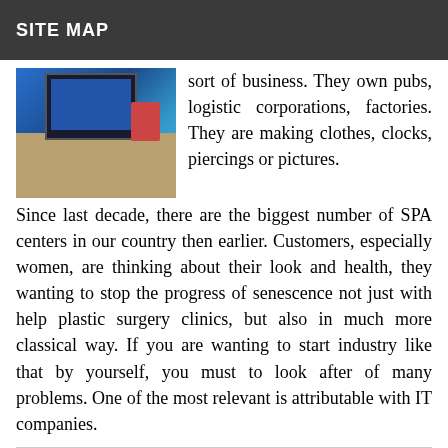SITE MAP
[Figure (photo): Photo of a computer workstation with monitors, items on desk, blue background lighting]
sort of business. They own pubs, logistic corporations, factories. They are making clothes, clocks, piercings or pictures. Since last decade, there are the biggest number of SPA centers in our country then earlier. Customers, especially women, are thinking about their look and health, they wanting to stop the progress of senescence not just with help plastic surgery clinics, but also in much more classical way. If you are wanting to start industry like that by yourself, you must to look after of many problems. One of the most relevant is attributable with IT companies.
This website uses cookies to improve your experience. We'll assume you're ok with this, but you can opt-out if you wish.
Cookie settings   ACCEPT